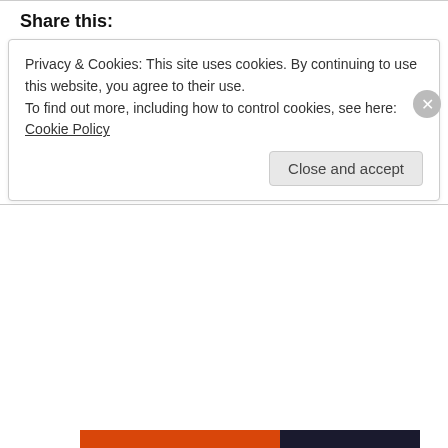Share this:
[Figure (other): Share buttons: email (gray circle), Facebook (blue circle with F), Reddit (light blue circle with alien mascot)]
Like  Be the first to like this.
April 16, 2016
Leave a Reply
Privacy & Cookies: This site uses cookies. By continuing to use this website, you agree to their use. To find out more, including how to control cookies, see here: Cookie Policy
Close and accept